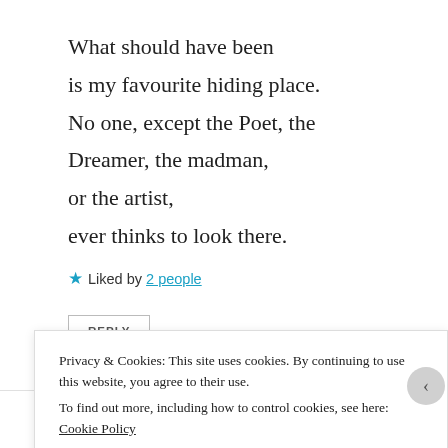What should have been
is my favourite hiding place.
No one, except the Poet, the
Dreamer, the madman,
or the artist,
ever thinks to look there.
★ Liked by 2 people
REPLY
Watt
Privacy & Cookies: This site uses cookies. By continuing to use this website, you agree to their use.
To find out more, including how to control cookies, see here: Cookie Policy
Close and accept